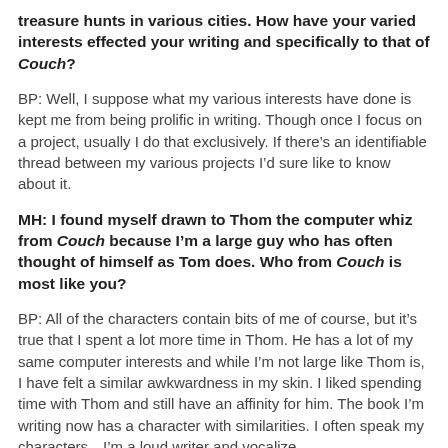treasure hunts in various cities. How have your varied interests effected your writing and specifically to that of Couch?
BP: Well, I suppose what my various interests have done is kept me from being prolific in writing. Though once I focus on a project, usually I do that exclusively. If there's an identifiable thread between my various projects I'd sure like to know about it.
MH: I found myself drawn to Thom the computer whiz from Couch because I'm a large guy who has often thought of himself as Tom does. Who from Couch is most like you?
BP: All of the characters contain bits of me of course, but it's true that I spent a lot more time in Thom. He has a lot of my same computer interests and while I'm not large like Thom is, I have felt a similar awkwardness in my skin. I liked spending time with Thom and still have an affinity for him. The book I'm writing now has a character with similarities. I often speak my characters—I'm a loud writer and vocalize